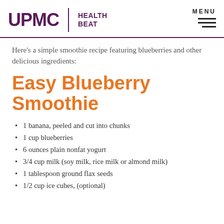UPMC | HEALTH BEAT
Here's a simple smoothie recipe featuring blueberries and other delicious ingredients:
Easy Blueberry Smoothie
1 banana, peeled and cut into chunks
1 cup blueberries
6 ounces plain nonfat yogurt
3/4 cup milk (soy milk, rice milk or almond milk)
1 tablespoon ground flax seeds
1/2 cup ice cubes, (optional)